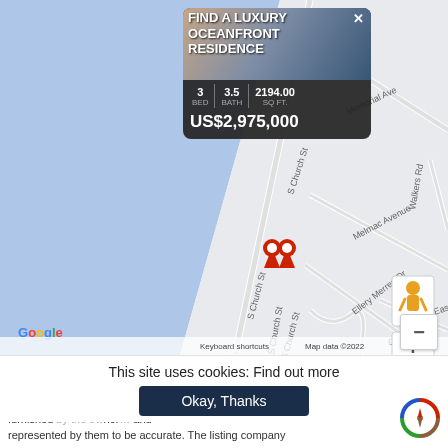[Figure (screenshot): Google Maps view showing S Church St area with property listing popup showing OCEANFRONT RESIDENCE, 3 BED, 3.5 BATH, 2194.00 SQ FT, priced at US$2,975,000. Map shows Memorial Ave, Melmac Avenue, Walkers Rd, Ellery Merren Dr, Phelan Cl, East Blvd, S Church St. Map controls visible including street view person icon, zoom +/- buttons. Google logo and map attribution visible at bottom.]
This site uses cookies: Find out more
Okay, Thanks
*Disclaimer: The information contained herein has b... furnished by the owner... and represented by them to be accurate. The listing company